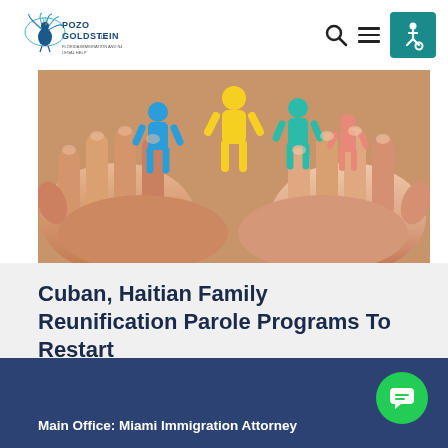Pozo Goldstein LLP – Navigation bar with logo, search icon, menu icon, and accessibility button
[Figure (photo): Close-up of two pairs of hands cupping colorful paper cut-out figures of people (blue, yellow, teal, salmon) representing family reunification.]
Cuban, Haitian Family Reunification Parole Programs To Restart
Main Office: Miami Immigration Attorney